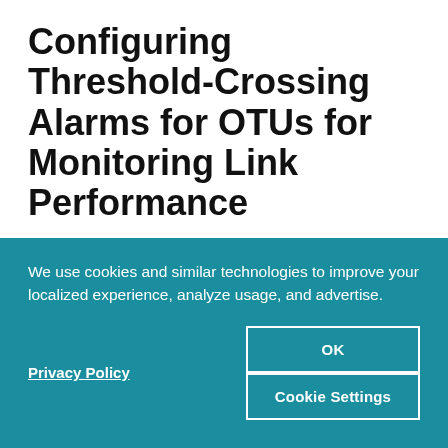Configuring Threshold-Crossing Alarms for OTUs for Monitoring Link Performance
23-Jan-18
By monitoring the performance of links, you ensure that an end-to-end Ethernet service is always available over any
We use cookies and similar technologies to improve your localized experience, analyze usage, and advertise.
Privacy Policy
OK
Cookie Settings